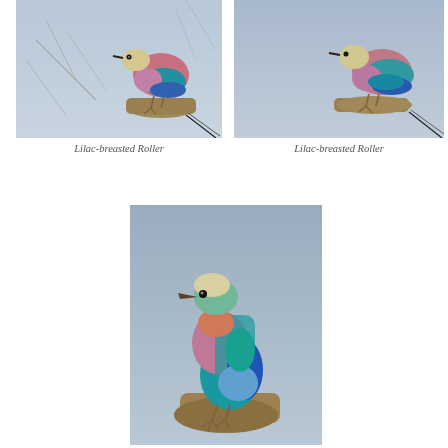[Figure (photo): Lilac-breasted Roller bird perched on a branch, full body side view, colorful plumage with blue, lilac, and teal, against a grey sky background. Left photo of top pair.]
Lilac-breasted Roller
[Figure (photo): Lilac-breasted Roller bird perched on a branch, full body side view, colorful plumage with blue, green, and lilac, against a grey-blue sky background. Right photo of top pair.]
Lilac-breasted Roller
[Figure (photo): Close-up portrait of a Lilac-breasted Roller bird perched on a branch, showing detailed plumage with teal head, lilac-pink breast, blue wing, and teal belly, against a grey background.]